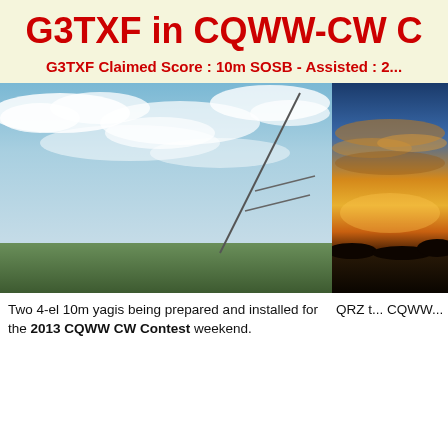G3TXF in CQWW-CW C
G3TXF Claimed Score : 10m SOSB - Assisted : 2...
[Figure (photo): Daytime sky photo with antenna mast visible against blue sky with clouds]
[Figure (photo): Sunset photo showing warm orange and yellow sky with silhouetted landscape]
Two 4-el 10m yagis being prepared and installed for the 2013 CQWW CW Contest weekend.
QRZ t... CQWW...